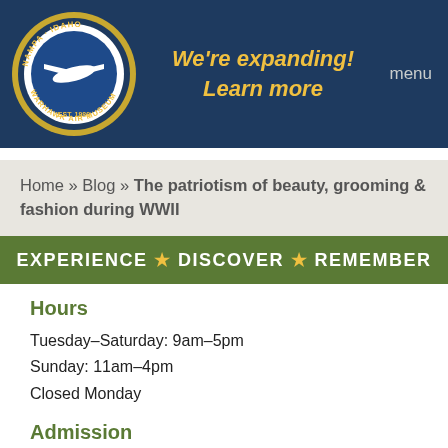We're expanding! Learn more   menu
Home » Blog » The patriotism of beauty, grooming & fashion during WWII
EXPERIENCE ★ DISCOVER ★ REMEMBER
Hours
Tuesday–Saturday: 9am–5pm
Sunday: 11am–4pm
Closed Monday
Admission
General Admission: $14.00
Seniors: $12.00